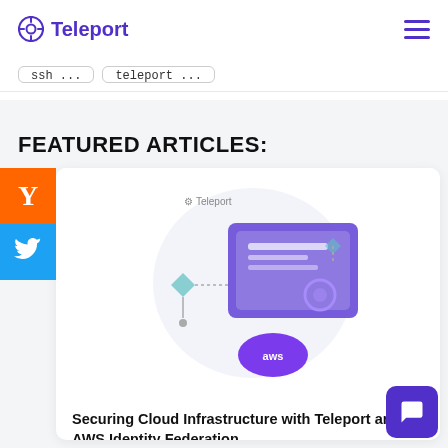Teleport
ssh   teleport
FEATURED ARTICLES:
[Figure (illustration): Teleport branded illustration showing cloud infrastructure with AWS logo, identity card, and network diagram elements in purple and teal colors]
Securing Cloud Infrastructure with Teleport and AWS Identity Federation
By Janakiram MSV